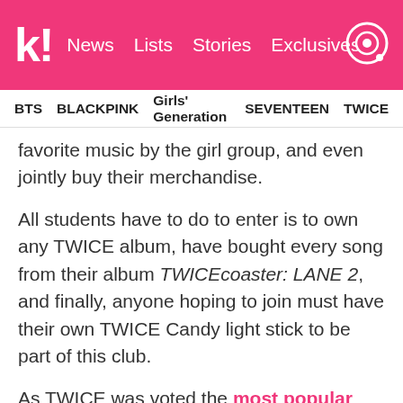k! | News | Lists | Stories | Exclusives
BTS | BLACKPINK | Girls' Generation | SEVENTEEN | TWICE
favorite music by the girl group, and even jointly buy their merchandise.
All students have to do to enter is to own any TWICE album, have bought every song from their album TWICEcoaster: LANE 2, and finally, anyone hoping to join must have their own TWICE Candy light stick to be part of this club.
As TWICE was voted the most popular group among male high school students, many young men have surely passed these requirements.